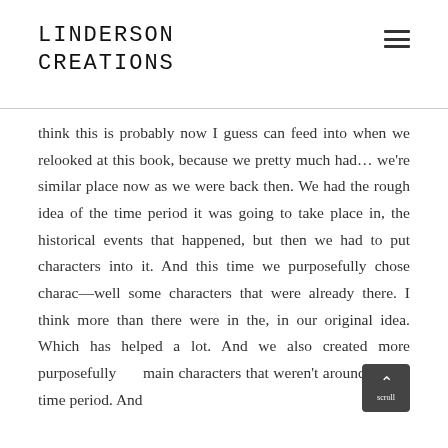LINDERSON CREATIONS
think this is probably now I guess can feed into when we relooked at this book, because we pretty much had… we're similar place now as we were back then. We had the rough idea of the time period it was going to take place in, the historical events that happened, but then we had to put characters into it. And this time we purposefully chose charac—well some characters that were already there. I think more than there were in the, in our original idea. Which has helped a lot. And we also created more purposefully main characters that weren't around in that time period. And